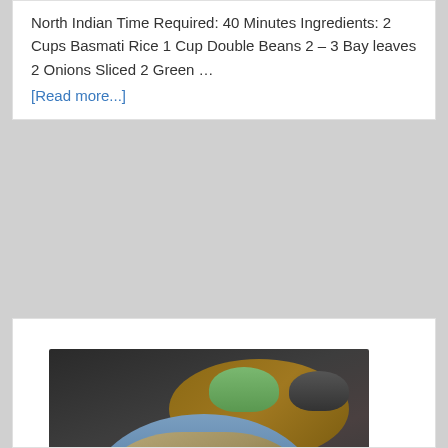North Indian Time Required: 40 Minutes Ingredients: 2 Cups Basmati Rice 1 Cup Double Beans 2 – 3 Bay leaves 2 Onions Sliced 2 Green …
[Read more...]
[Figure (photo): A blue ceramic bowl filled with Vegetable Fried Rice, with small bowls of green and dark sauce on a wooden board in the background, placed on a woven mat on a dark surface.]
Vegetable Fried Rice
Vegetable Fried Rice is a Chinese main course prepared using Rice and Vegetables. Everybody loves to have fried rice at home and I love to cook